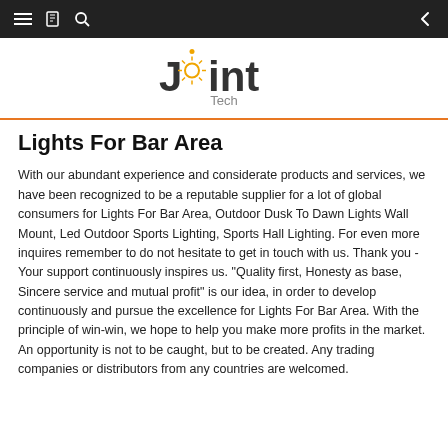Joint Tech
Lights For Bar Area
With our abundant experience and considerate products and services, we have been recognized to be a reputable supplier for a lot of global consumers for Lights For Bar Area, Outdoor Dusk To Dawn Lights Wall Mount, Led Outdoor Sports Lighting, Sports Hall Lighting. For even more inquires remember to do not hesitate to get in touch with us. Thank you - Your support continuously inspires us. "Quality first, Honesty as base, Sincere service and mutual profit" is our idea, in order to develop continuously and pursue the excellence for Lights For Bar Area. With the principle of win-win, we hope to help you make more profits in the market. An opportunity is not to be caught, but to be created. Any trading companies or distributors from any countries are welcomed.